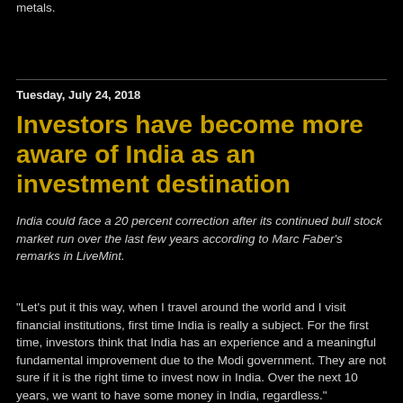metals.
Tuesday, July 24, 2018
Investors have become more aware of India as an investment destination
India could face a 20 percent correction after its continued bull stock market run over the last few years according to Marc Faber's remarks in LiveMint.
"Let's put it this way, when I travel around the world and I visit financial institutions, first time India is really a subject. For the first time, investors think that India has an experience and a meaningful fundamental improvement due to the Modi government. They are not sure if it is the right time to invest now in India. Over the next 10 years, we want to have some money in India, regardless."